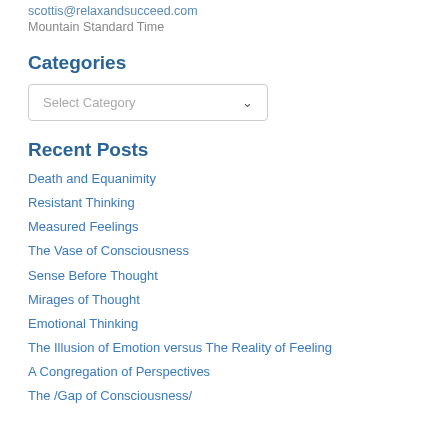scottis@relaxandsucceed.com
Mountain Standard Time
Categories
Select Category
Recent Posts
Death and Equanimity
Resistant Thinking
Measured Feelings
The Vase of Consciousness
Sense Before Thought
Mirages of Thought
Emotional Thinking
The Illusion of Emotion versus The Reality of Feeling
A Congregation of Perspectives
The /Gap of Consciousness/